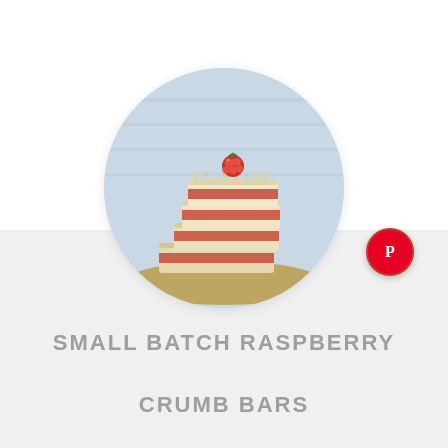[Figure (photo): A circular cropped food photo showing stacked raspberry crumb bars with a fresh raspberry on top, against a light brick wall background. Multiple crumb bars with raspberry jam filling are visible, stacked and slightly fanned out.]
[Figure (logo): Pinterest logo icon — white 'P' on red circular background]
SMALL BATCH RASPBERRY CRUMB BARS